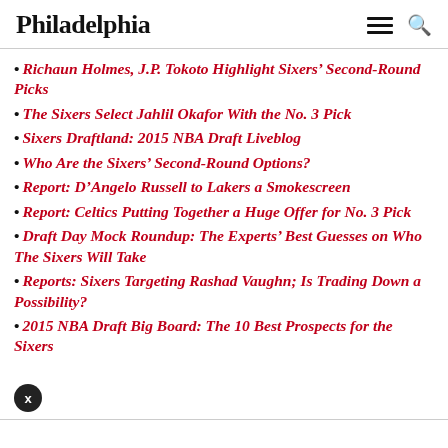Philadelphia
Richaun Holmes, J.P. Tokoto Highlight Sixers' Second-Round Picks
The Sixers Select Jahlil Okafor With the No. 3 Pick
Sixers Draftland: 2015 NBA Draft Liveblog
Who Are the Sixers' Second-Round Options?
Report: D'Angelo Russell to Lakers a Smokescreen
Report: Celtics Putting Together a Huge Offer for No. 3 Pick
Draft Day Mock Roundup: The Experts' Best Guesses on Who The Sixers Will Take
Reports: Sixers Targeting Rashad Vaughn; Is Trading Down a Possibility?
2015 NBA Draft Big Board: The 10 Best Prospects for the Sixers